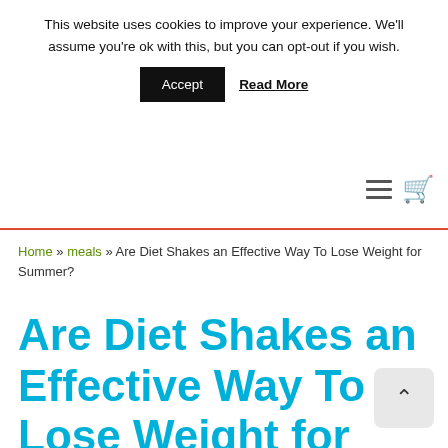This website uses cookies to improve your experience. We'll assume you're ok with this, but you can opt-out if you wish.
Accept   Read More
Home » meals » Are Diet Shakes an Effective Way To Lose Weight for Summer?
Are Diet Shakes an Effective Way To Lose Weight for Summer?